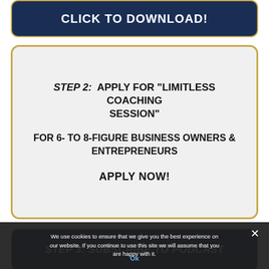CLICK TO DOWNLOAD!
STEP 2: APPLY FOR "LIMITLESS COACHING SESSION"

FOR 6- to 8-FIGURE BUSINESS OWNERS & ENTREPRENEURS

APPLY NOW!
STEP 3: SUBSCRIBE TO PODCAST
We use cookies to ensure that we give you the best experience on our website. If you continue to use this site we will assume that you are happy with it.
Ok